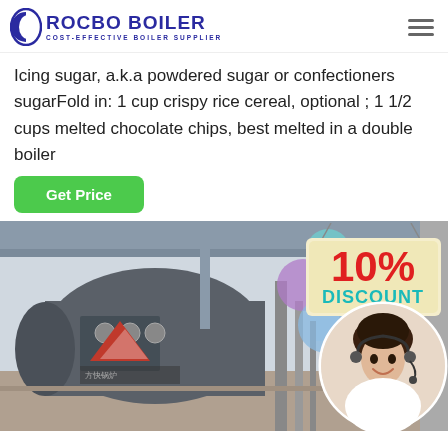[Figure (logo): Rocbo Boiler logo with crescent C icon and tagline 'COST-EFFECTIVE BOILER SUPPLIER']
Icing sugar, a.k.a powdered sugar or confectioners sugarFold in: 1 cup crispy rice cereal, optional ; 1 1/2 cups melted chocolate chips, best melted in a double boiler
[Figure (other): Green 'Get Price' button]
[Figure (photo): Industrial boiler equipment in a factory/warehouse setting with Chinese manufacturer branding, overlaid with colorful bubbles, a 10% DISCOUNT badge, and a customer service agent portrait circle]